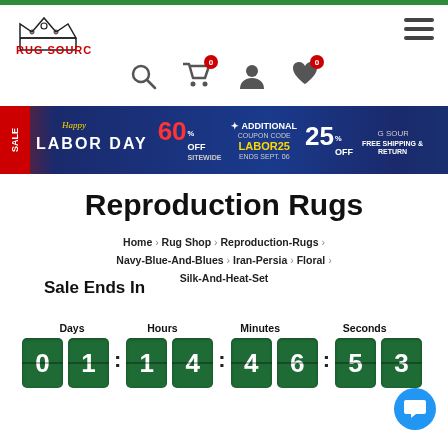[Figure (logo): Rug Source logo with crown above text RUG SOURCE in red]
[Figure (infographic): Labor Day sale banner: LABOR DAY 60% OFF SITEWIDE + ADDITIONAL COUPON CODE LABOR25 25% OFF ENDS SEPT. 06 FREE SHIPPING & RETURN]
Reproduction Rugs
Home > Rug Shop > Reproduction-Rugs > Navy-Blue-And-Blues > Iran-Persia > Floral > Silk-And-Heat-Set
Sale Ends In
Days  Hours  Minutes  Seconds
01 : 14 : 46 : 53